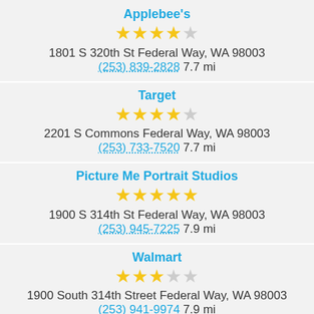Applebee's
3.5 stars
1801 S 320th St Federal Way, WA 98003
(253) 839-2828 7.7 mi
Target
3.5 stars
2201 S Commons Federal Way, WA 98003
(253) 733-7520 7.7 mi
Picture Me Portrait Studios
4.5 stars
1900 S 314th St Federal Way, WA 98003
(253) 945-7225 7.9 mi
Walmart
2.5 stars
1900 South 314th Street Federal Way, WA 98003
(253) 941-9974 7.9 mi
Walmart Pharmacy
stars